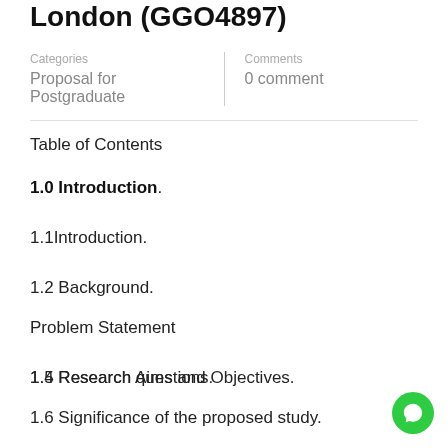London (GGO4897)
Categories: Proposal for Postgraduate | Comments: 0 comment
Table of Contents
1.0 Introduction.
1.1Introduction.
1.2 Background.
Problem Statement
1.4 Research Aims and Objectives.
1.5 Research questions.
1.6 Significance of the proposed study.